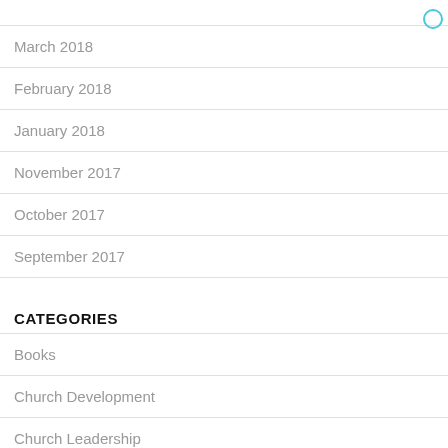March 2018
February 2018
January 2018
November 2017
October 2017
September 2017
CATEGORIES
Books
Church Development
Church Leadership